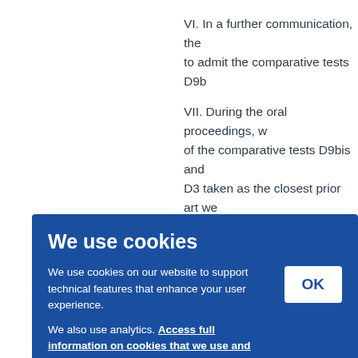VI. In a further communication, the … to admit the comparative tests D9b…
VII. During the oral proceedings, w… of the comparative tests D9bis and… D3 taken as the closest prior art we… shown by comparative examples D… breadth of claim 1 and the question… skilled person. The final requests o…
…or req… …mainta…
…dism…
…us of e…